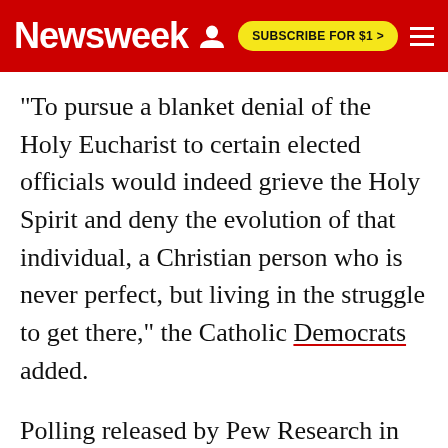Newsweek | SUBSCRIBE FOR $1 >
"To pursue a blanket denial of the Holy Eucharist to certain elected officials would indeed grieve the Holy Spirit and deny the evolution of that individual, a Christian person who is never perfect, but living in the struggle to get there," the Catholic Democrats added.
Polling released by Pew Research in May showed 64 percent of U.S. Catholics approved of Biden, while 35 percent disapproved. The president's support was buoyed by Hispanic Catholics, of which 80 percent said they